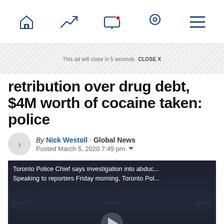[Figure (screenshot): Navigation bar with home, trending, screen/notification, location, and menu icons]
This ad will close in 5 seconds  CLOSE X
retribution over drug debt, $4M worth of cocaine taken: police
By Nick Westoll · Global News
Posted March 5, 2020 7:49 pm
[Figure (screenshot): Video thumbnail showing Toronto Police Chief with caption: Toronto Police Chief says investigation into abduc... Speaking to reporters Friday morning, Toronto Pol...]